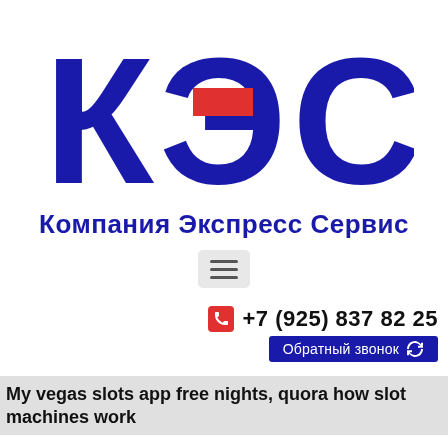[Figure (logo): КЭС logo — large Cyrillic letters К, Э, С in dark navy blue with a red rectangle accent on the Э letter]
Компания Экспресс Сервис
+7 (925) 837 82 25
Обратный звонок
My vegas slots app free nights, quora how slot machines work
Not only is there a wealth of slots and table games to choose from, no deposit bonuses at the casino are effective if you want